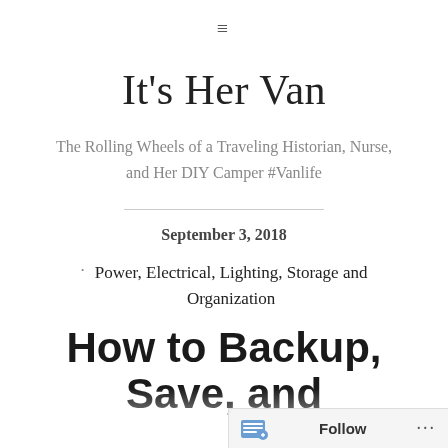≡
It's Her Van
The Rolling Wheels of a Traveling Historian, Nurse, and Her DIY Camper #Vanlife
September 3, 2018
Power, Electrical, Lighting, Storage and Organization
How to Backup, Save, and